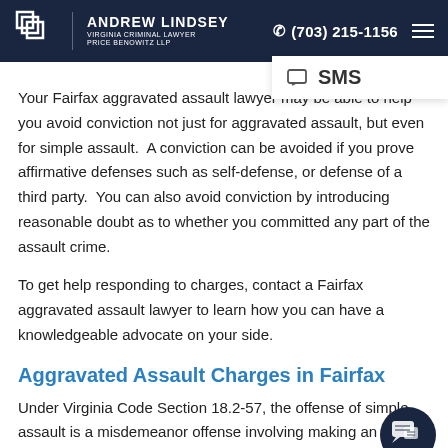Andrew Lindsey Virginia Criminal Lawyer Price Benowitz LLP | (703) 215-1156
Your Fairfax aggravated assault lawyer may be able to help you avoid conviction not just for aggravated assault, but even for simple assault. A conviction can be avoided if you prove affirmative defenses such as self-defense, or defense of a third party. You can also avoid conviction by introducing reasonable doubt as to whether you committed any part of the assault crime.
To get help responding to charges, contact a Fairfax aggravated assault lawyer to learn how you can have a knowledgeable advocate on your side.
Aggravated Assault Charges in Fairfax
Under Virginia Code Section 18.2-57, the offense of simple assault is a misdemeanor offense involving making an